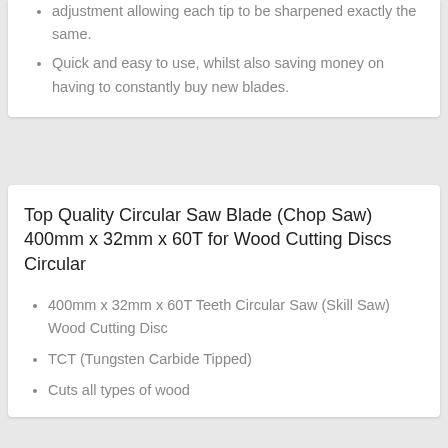adjustment allowing each tip to be sharpened exactly the same.
Quick and easy to use, whilst also saving money on having to constantly buy new blades.
Top Quality Circular Saw Blade (Chop Saw) 400mm x 32mm x 60T for Wood Cutting Discs Circular
400mm x 32mm x 60T Teeth Circular Saw (Skill Saw) Wood Cutting Disc
TCT (Tungsten Carbide Tipped)
Cuts all types of wood